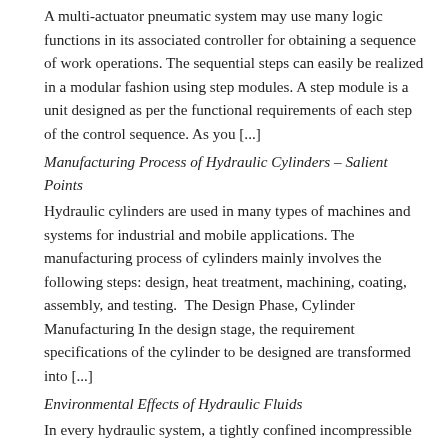A multi-actuator pneumatic system may use many logic functions in its associated controller for obtaining a sequence of work operations. The sequential steps can easily be realized in a modular fashion using step modules. A step module is a unit designed as per the functional requirements of each step of the control sequence. As you [...]
Manufacturing Process of Hydraulic Cylinders – Salient Points
Hydraulic cylinders are used in many types of machines and systems for industrial and mobile applications. The manufacturing process of cylinders mainly involves the following steps: design, heat treatment, machining, coating, assembly, and testing.  The Design Phase, Cylinder Manufacturing In the design stage, the requirement specifications of the cylinder to be designed are transformed into [...]
Environmental Effects of Hydraulic Fluids
In every hydraulic system, a tightly confined incompressible fluid medium is used to transmit energy from the power pack to the actuators in the system. The fluid medium is formulated from a base stock and additives. The base stock should normally be a special base, maximizing some of